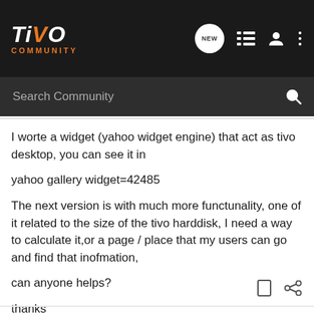TiVo COMMUNITY - Search Community
I worte a widget (yahoo widget engine) that act as tivo desktop, you can see it in
yahoo gallery widget=42485

The next version is with much more functunality, one of it related to the size of the tivo harddisk, I need a way to calculate it,or a page / place that my users can go and find that inofmation,
can anyone helps?

thanks